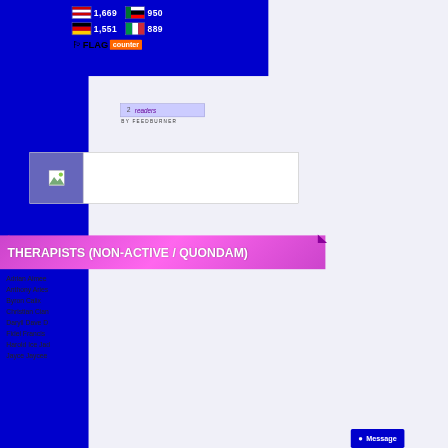[Figure (screenshot): Flag counter widget showing Malaysia flag with 1,669 and UAE flag with 950; Germany flag with 1,551 and Italy flag with 889; FLAG counter logo at bottom]
[Figure (screenshot): FeedBurner widget showing 2 readers by FeedBurner]
[Figure (screenshot): Image placeholder box with broken image icon on left]
THERAPISTS (NON-ACTIVE / QUONDAM)
Adrian  Aimee
Anthony  Aries
Byron   Calix
Christian  Cian
Daryll  Dave  D
Fidel  Francis
Harold  Ice  Jad
Jayce  Jaycee